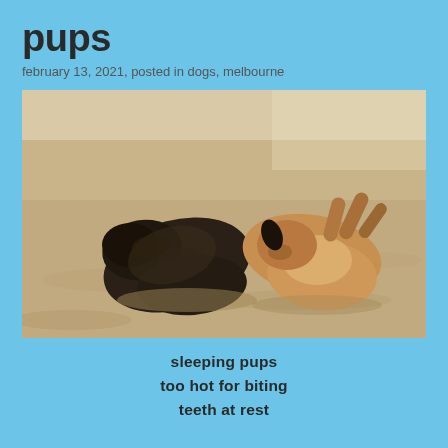pups
february 13, 2021, posted in dogs, melbourne
[Figure (photo): Two puppies sleeping on sand/dirt ground. One is dark/black coloured on the left, curled up. The other is tan/brown coloured on the right, lying on its back with legs in the air.]
sleeping pups
too hot for biting
teeth at rest